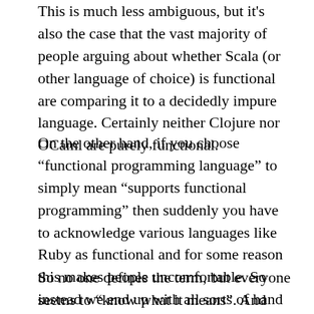This is much less ambiguous, but it's also the case that the vast majority of people arguing about whether Scala (or other language of choice) is functional are comparing it to a decidedly impure language. Certainly neither Clojure nor OCaml are purely functional.
On the other hand, if you choose “functional programming language” to simply mean “supports functional programming” then suddenly you have to acknowledge various languages like Ruby as functional and for some reason this makes people uncomfortable. So instead we end up with all sorts of hand waving and mumbling and no one is able to have a useful discussion because everyone is too busy making assertions which can’t be argued with because they don’t mean anything.
So no one defines the term, but everyone seems to “know what it means”. And what it inevitably means is “shares features with this language which I use and like and consider